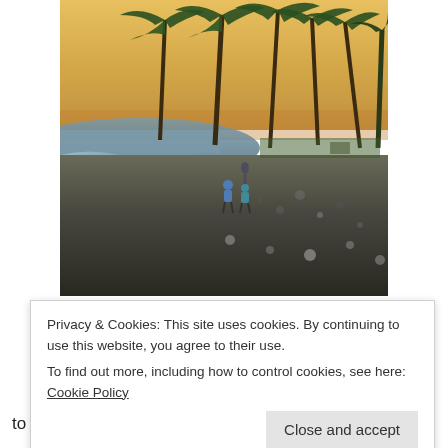[Figure (photo): Beach scene at sunset with palm trees swaying in the wind. Rocky/pebbly shoreline with ocean waves on the left. Three children are visible walking on the beach. Warm golden-orange sunset sky in the background.]
Privacy & Cookies: This site uses cookies. By continuing to use this website, you agree to their use.
To find out more, including how to control cookies, see here: Cookie Policy
Close and accept
to travel with our children! They enjoyed snorkeling with